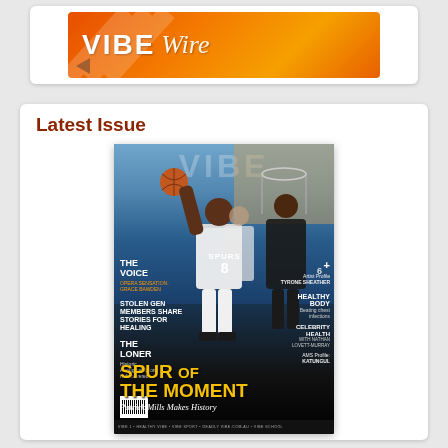[Figure (logo): VIBE Wire logo banner on orange gradient background with decorative arrow]
Latest Issue
[Figure (photo): Magazine cover of VIBE showing basketball player Patrick Mills wearing San Antonio Spurs jersey number 8, driving to the basket. Cover text includes: THE VOICE, OPERA SENSATION GRACE BAWDEN, STOLEN GEN MEMBERS SHARE STORIES FOR HEALING, THE LONER Historic Aboriginal dition rediscovered, + Artist Profile TYRONE SHEATHER, HEALTHY BODY Beating chest infections, CELEBRITY HEALTH WITH NATHAN LOVETT-MURRAY, AMS Profile: KATUNGUL, SPUR OF THE MOMENT, Patrick Mills Makes History]